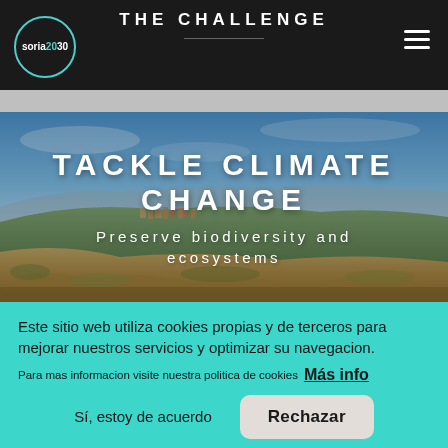THE CHALLENGE
[Figure (screenshot): Landscape panoramic photo of a Spanish countryside/village (Soria) with hills, dry grassland, and a town visible in the background under a blue sky.]
TACKLE CLIMATE CHANGE
Preserve biodiversity and ecosystems
Este sitio web utiliza cookies propias y de terceros para mejorar nuestros servicios y optimizar su navegacion.
Para mas informacion visite nuestra politica de cookies Más info
Sí, estoy de acuerdo   Rechazar